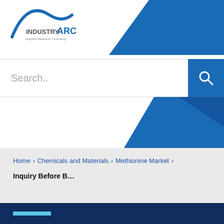[Figure (logo): IndustryARC logo with arc graphic and tagline 'Analytics Research Consulting']
Search..
Home > Chemicals and Materials > Methionine Market > Inquiry Before B...